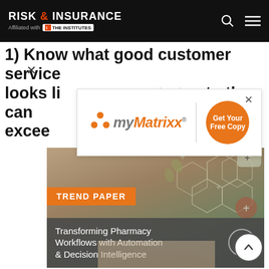RISK & INSURANCE — Affiliated with THE INSTITUTES
1) Know what good customer service looks like — the first step to that can exceed...
[Figure (advertisement): myMatrixx advertisement overlay with orange dot logo, divider, and orange circular 'Get Your Free Copy' button]
[Figure (photo): Trend Paper promotional image showing hexagonal network graphic overlay on background, with orange 'TREND PAPER' badge and dark overlay text: 'Transforming Pharmacy Workflows with Automation & Decision Intelligence']